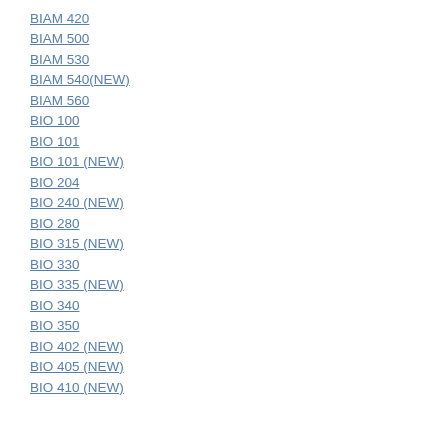BIAM 420
BIAM 500
BIAM 530
BIAM 540(NEW)
BIAM 560
BIO 100
BIO 101
BIO 101 (NEW)
BIO 204
BIO 240 (NEW)
BIO 280
BIO 315 (NEW)
BIO 330
BIO 335 (NEW)
BIO 340
BIO 350
BIO 402 (NEW)
BIO 405 (NEW)
BIO 410 (NEW)